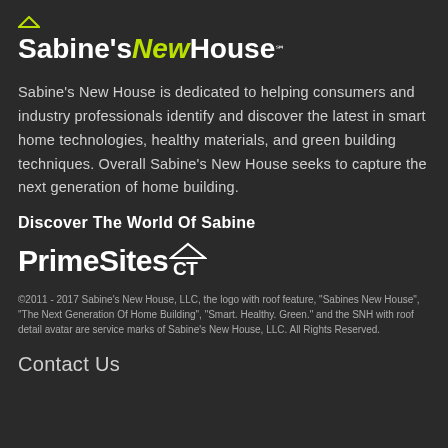[Figure (logo): Sabine's New House logo with green roof icon above, white and green-italic text, SM service mark superscript]
Sabine's New House is dedicated to helping consumers and industry professionals identify and discover the latest in smart home technologies, healthy materials, and green building techniques. Overall Sabine's New House seeks to capture the next generation of home building.
Discover The World Of Sabine
[Figure (logo): PrimeSitesCT logo with house roof icon integrated into the text]
©2011 - 2017 Sabine's New House, LLC, the logo with roof feature, "Sabines New House", "The Next Generation Of Home Building", "Smart. Healthy. Green." and the SNH with roof detail avatar are service marks of Sabine's New House, LLC. All Rights Reserved.
Contact Us